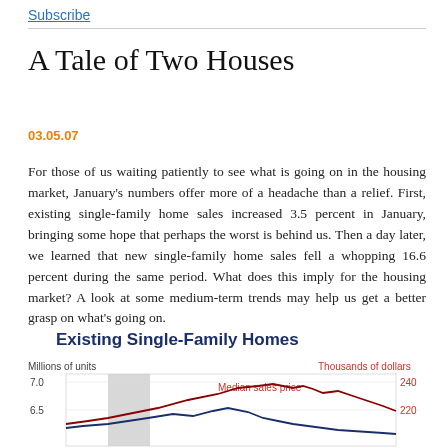Subscribe
A Tale of Two Houses
03.05.07
For those of us waiting patiently to see what is going on in the housing market, January's numbers offer more of a headache than a relief. First, existing single-family home sales increased 3.5 percent in January, bringing some hope that perhaps the worst is behind us. Then a day later, we learned that new single-family home sales fell a whopping 16.6 percent during the same period. What does this imply for the housing market? A look at some medium-term trends may help us get a better grasp on what's going on.
Existing Single-Family Homes
[Figure (continuous-plot): Line chart showing Existing Single-Family Homes with two y-axes: Millions of units (left, range ~5.5 to 7.0) and Thousands of dollars (right, range ~160 to 240). Shows median sales price (red line) and sales volume (dark blue line) over time with a shaded recession bar. Y-axis labels visible: 7.0, 6.5 on left; 240, 220 on right. Labels: 'Millions of units', 'Thousands of dollars', 'Median sales price'.]